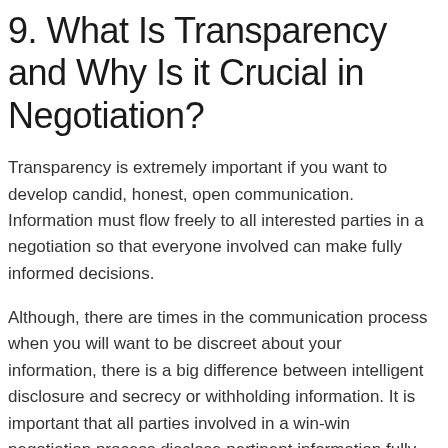9. What Is Transparency and Why Is it Crucial in Negotiation?
Transparency is extremely important if you want to develop candid, honest, open communication. Information must flow freely to all interested parties in a negotiation so that everyone involved can make fully informed decisions.
Although, there are times in the communication process when you will want to be discreet about your information, there is a big difference between intelligent disclosure and secrecy or withholding information. It is important that all parties involved in a win-win negotiation process disclose pertinent information fully at appropriate times.